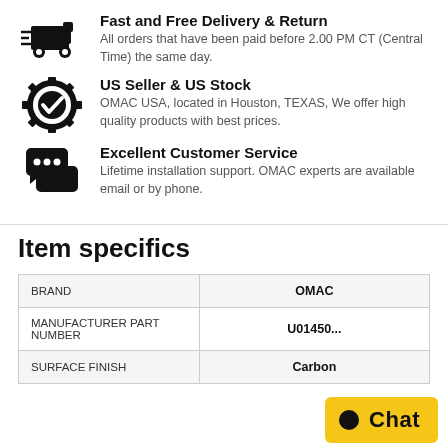Fast and Free Delivery & Return
All orders that have been paid before 2.00 PM CT (Central Time) the same day.
US Seller & US Stock
OMAC USA, located in Houston, TEXAS, We offer high quality products with best prices.
Excellent Customer Service
Lifetime installation support. OMAC experts are available email or by phone.
Item specifics
|  |  |
| --- | --- |
| BRAND | OMAC |
| MANUFACTURER PART NUMBER | U01450... |
| SURFACE FINISH | Carbon... |